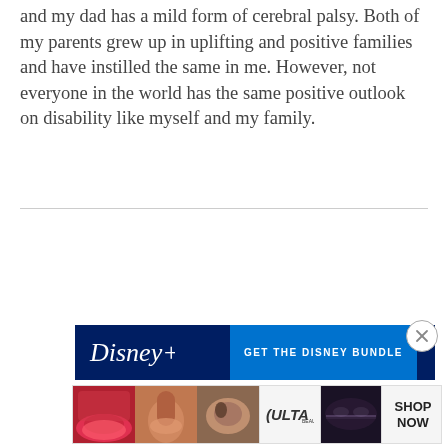and my dad has a mild form of cerebral palsy. Both of my parents grew up in uplifting and positive families and have instilled the same in me. However, not everyone in the world has the same positive outlook on disability like myself and my family.
[Figure (screenshot): Disney+ advertisement banner with dark blue background showing 'GET THE DISNEY BUNDLE' text and Disney logo]
[Figure (screenshot): Ulta Beauty advertisement showing makeup product images with 'SHOP NOW' call to action]